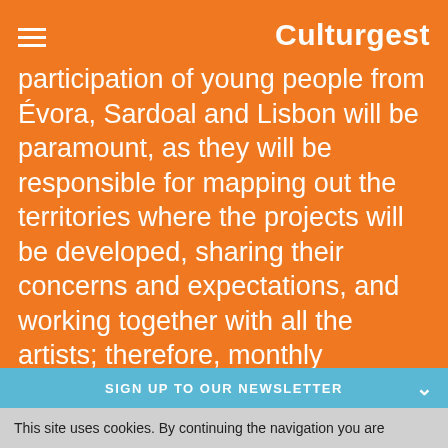Culturgest
participation of young people from Évora, Sardoal and Lisbon will be paramount, as they will be responsible for mapping out the territories where the projects will be developed, sharing their concerns and expectations, and working together with all the artists; therefore, monthly meetings (in person or online) between these participants have been scheduled.
SIGN UP TO OUR NEWSLETTER
This site uses cookies. By continuing the navigation you are